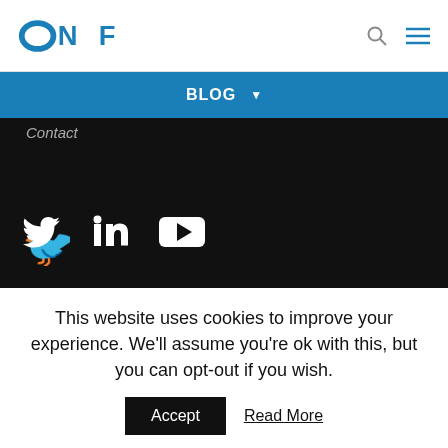ONF logo with search and menu icons
BLOG ▼
Contact
[Figure (logo): Social media icons: Twitter bird, LinkedIn in, YouTube play button, Wikipedia W, RSS feed icon]
Copyright © 2022 Open Networking Foundation
This website uses cookies to improve your experience. We'll assume you're ok with this, but you can opt-out if you wish. Accept Read More